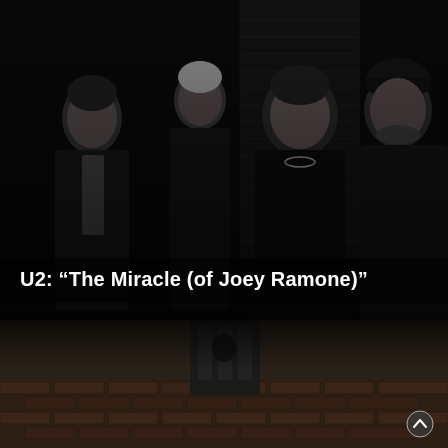[Figure (photo): Black and white photo of the four members of U2 standing against a dark background, all dressed in dark/black clothing and leather jackets. The members are posed looking at the camera.]
U2: “The Miracle (of Joey Ramone)”
[Figure (photo): Partially visible sepia/dark-toned photo below showing what appears to be a brick wall and industrial-style interior setting, partially cropped.]